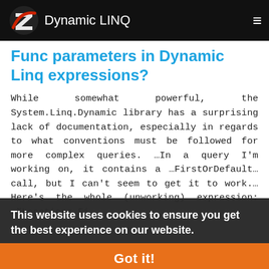Dynamic LINQ
Func parameters in Dynamic Linq expressions?
While somewhat powerful, the System.Linq.Dynamic library has a surprising lack of documentation, especially in regards to what conventions must be followed for more complex queries. …In a query I'm working on, it contains a …FirstOrDefault… call, but I can't seem to get it to work.…Here's the whole (unworking) expression: …"Locations.Fi…
This website uses cookies to ensure you get the best experience on our website.
Learn more
Got it!
rk: datetime modifications for